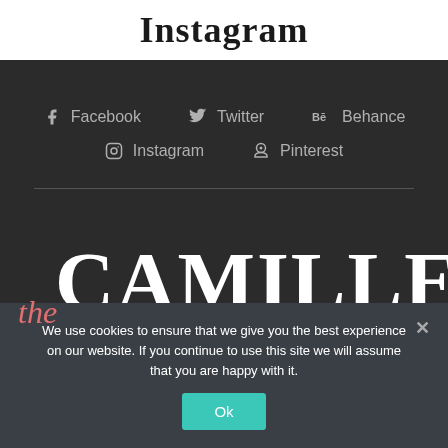Instagram
Facebook
Twitter
Behance
Instagram
Pinterest
[Figure (logo): the CAMILLE logo in large serif white text with 'the' in italic pink script]
We use cookies to ensure that we give you the best experience on our website. If you continue to use this site we will assume that you are happy with it.